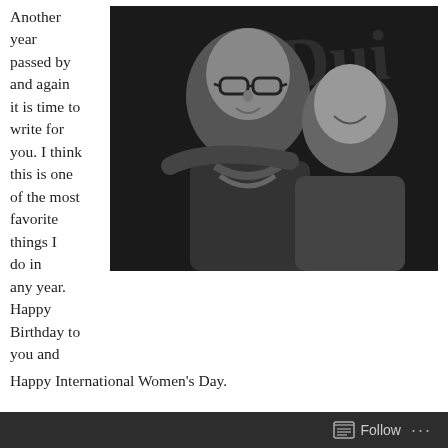Another year passed by and again it is time to write for you. I think this is one of the most favorite things I do in any year. Happy Birthday to you and Happy International Women's Day.
[Figure (photo): Black and white photo of two people (adult and child) smiling together, with decorative gothic lettering visible in the background]
The world we live in now is much different from the world that I grew up. Well not different technically but it has changed a lot. There are good and bad ways in how it changed. Most of what changed for the bad were in our control or even now we can do
Follow